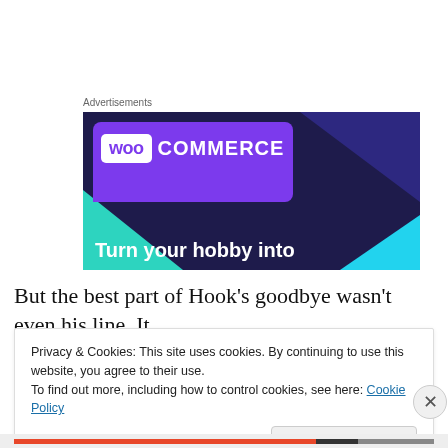Advertisements
[Figure (illustration): WooCommerce advertisement banner with purple and dark navy background, WooCommerce logo, and text 'Turn your hobby into']
But the best part of Hook's goodbye wasn't even his line. It
Privacy & Cookies: This site uses cookies. By continuing to use this website, you agree to their use.
To find out more, including how to control cookies, see here: Cookie Policy